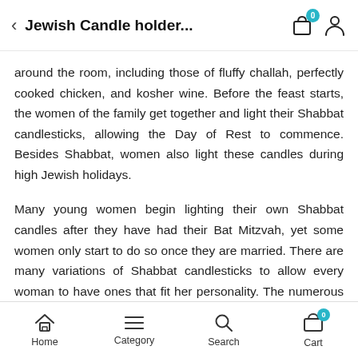Jewish Candle holder...
around the room, including those of fluffy challah, perfectly cooked chicken, and kosher wine. Before the feast starts, the women of the family get together and light their Shabbat candlesticks, allowing the Day of Rest to commence. Besides Shabbat, women also light these candles during high Jewish holidays.
Many young women begin lighting their own Shabbat candles after they have had their Bat Mitzvah, yet some women only start to do so once they are married. There are many variations of Shabbat candlesticks to allow every woman to have ones that fit her personality. The numerous types of Shabbat candlesticks make it easy to give them as Bat Mitzvah or wedding gifts for every woman you know. The
Home  Category  Search  Cart